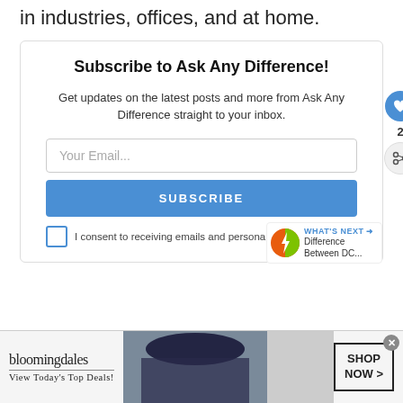in industries, offices, and at home.
Subscribe to Ask Any Difference!
Get updates on the latest posts and more from Ask Any Difference straight to your inbox.
[Figure (screenshot): Email subscription form with input field, Subscribe button, and consent checkbox]
[Figure (infographic): What's Next promo with lightning bolt logo and text 'Difference Between DC...']
[Figure (photo): Bloomingdale's advertisement banner with woman in hat, logo, tagline 'View Today's Top Deals!' and Shop Now button]